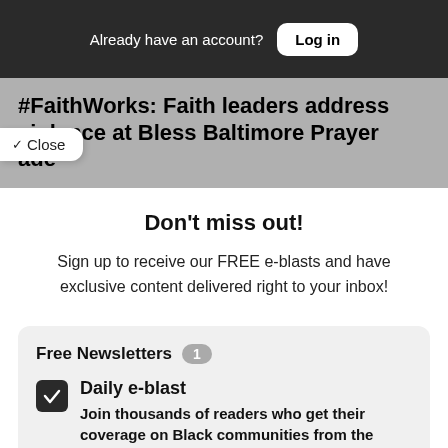Already have an account? Log in
#FaithWorks: Faith leaders address violence at Bless Baltimore Prayer ade
Close
Don't miss out!
Sign up to receive our FREE e-blasts and have exclusive content delivered right to your inbox!
Free Newsletters 1
Daily e-blast
Join thousands of readers who get their coverage on Black communities from the media company who has been doing it